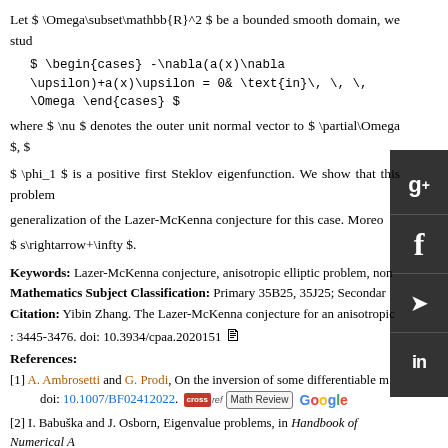Let $ \Omega\subset\mathbb{R}^2 $ be a bounded smooth domain, we stud
where $ \nu $ denotes the outer unit normal vector to $ \partial\Omega $, $
$ \phi_1 $ is a positive first Steklov eigenfunction. We show that this problem
generalization of the Lazer-McKenna conjecture for this case. Moreo
$ s\rightarrow+\infty $.
Keywords: Lazer-McKenna conjecture, anisotropic elliptic problem, non
Mathematics Subject Classification: Primary 35B25, 35J25; Secondar
Citation: Yibin Zhang. The Lazer-McKenna conjecture for an anisotropic : 3445-3476. doi: 10.3934/cpaa.2020151
References:
[1] A. Ambrosetti and G. Prodi, On the inversion of some differentiable m doi: 10.1007/BF02412022.
[2] I. Babuška and J. Osborn, Eigenvalue problems, in Handbook of Numerical A
[3] B. Breuer, P. J. McKenna and M. Plum, Multiple solutions for a semilinear bou doi: 10.1016/S0022-0396(03)00186-4.